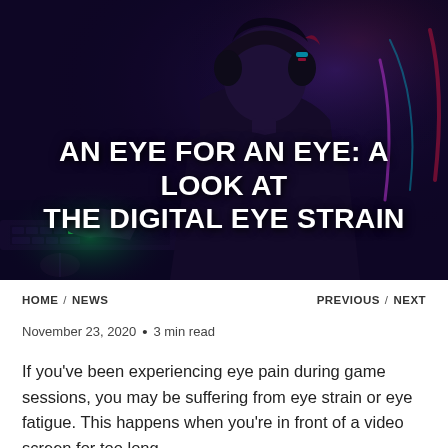[Figure (photo): A person wearing headphones sitting in front of computer screens in a dark gaming environment with purple and red neon lighting. The person is viewed from behind/side angle.]
AN EYE FOR AN EYE: A LOOK AT THE DIGITAL EYE STRAIN
HOME / NEWS    PREVIOUS / NEXT
November 23, 2020 • 3 min read
If you've been experiencing eye pain during game sessions, you may be suffering from eye strain or eye fatigue. This happens when you're in front of a video screen for too long.